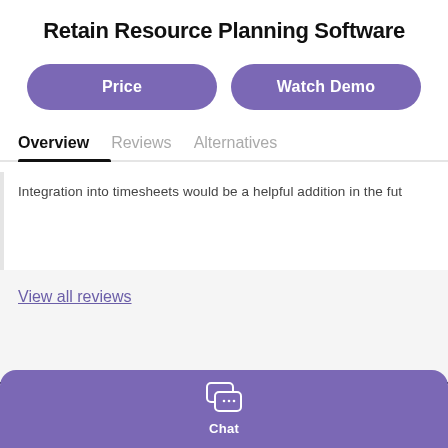Retain Resource Planning Software
Price
Watch Demo
Overview
Reviews
Alternatives
Integration into timesheets would be a helpful addition in the fut
View all reviews
[Figure (infographic): Chat button with speech bubble icon at the bottom of the page]